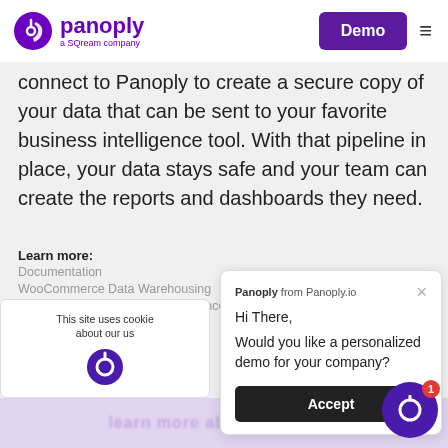panoply — a SQream company | Demo
connect to Panoply to create a secure copy of your data that can be sent to your favorite business intelligence tool. With that pipeline in place, your data stays safe and your team can create the reports and dashboards they need.
Learn more:
Documentation
WooCommerce Data Warehousing
WooCommerce Business Intelligence
See all Integrations
This site uses cookies about our us
Panoply from Panoply.io
Hi There,
Would you like a personalized demo for your company?
Accept